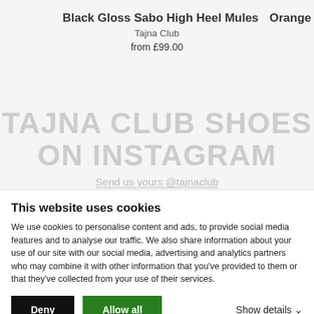Black Gloss Sabo High Heel Mules
Orange
Tajna Club
from £99.00
TAJNA CLUB SHOES ON INSTAGRAM
Send us yours @tajnaclub
This website uses cookies
We use cookies to personalise content and ads, to provide social media features and to analyse our traffic. We also share information about your use of our site with our social media, advertising and analytics partners who may combine it with other information that you've provided to them or that they've collected from your use of their services.
Deny
Allow all
Show details